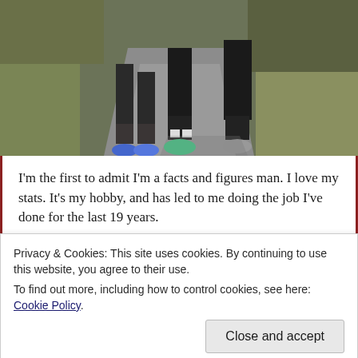[Figure (photo): Photo showing the lower legs and feet of runners on a paved path, with grass and vegetation on either side. The runners are wearing dark shorts and colorful running shoes.]
I'm the first to admit I'm a facts and figures man. I love my stats. It's my hobby, and has led to me doing the job I've done for the last 19 years.
During my English 'A' Level studies some of my fellow pupils likened me to Mr. Gradgrind from Charles Dickens' Hard
Privacy & Cookies: This site uses cookies. By continuing to use this website, you agree to their use.
To find out more, including how to control cookies, see here: Cookie Policy
it's not entirely all about figures written down in black and